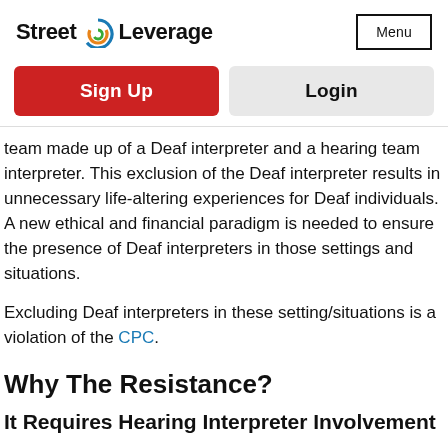Street Leverage  Menu
Sign Up  Login
team made up of a Deaf interpreter and a hearing team interpreter. This exclusion of the Deaf interpreter results in unnecessary life-altering experiences for Deaf individuals. A new ethical and financial paradigm is needed to ensure the presence of Deaf interpreters in those settings and situations.
Excluding Deaf interpreters in these setting/situations is a violation of the CPC.
Why The Resistance?
It Requires Hearing Interpreter Involvement